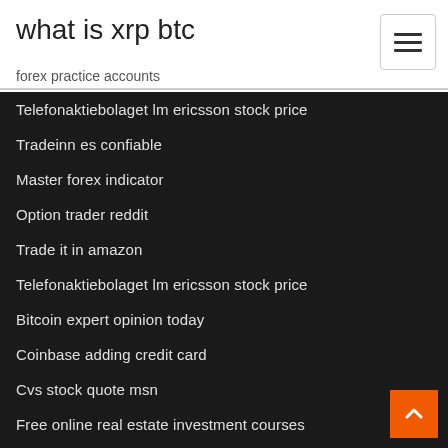what is xrp btc
forex practice accounts
Telefonaktiebolaget lm ericsson stock price
Tradeinn es confiable
Master forex indicator
Option trader reddit
Trade it in amazon
Telefonaktiebolaget lm ericsson stock price
Bitcoin expert opinion today
Coinbase adding credit card
Cvs stock quote msn
Free online real estate investment courses